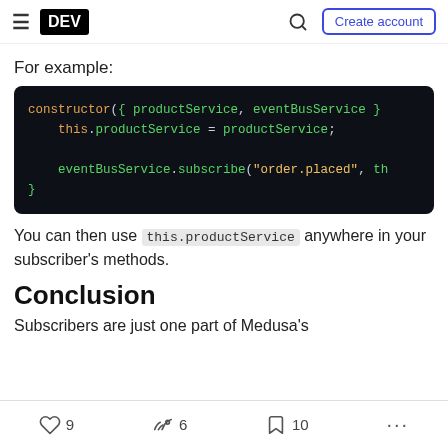DEV — Create account
For example:
[Figure (screenshot): Code block with dark background showing constructor code: constructor({ productService, eventBusService } this.productService = productService; eventBusService.subscribe("order.placed", th }]
You can then use this.productService anywhere in your subscriber's methods.
Conclusion
Subscribers are just one part of Medusa's
9 likes  6 reactions  10 bookmarks  ...